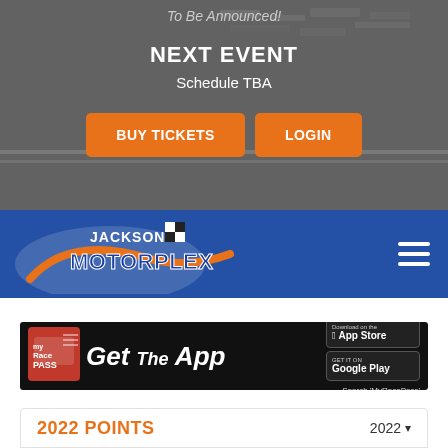To Be Announced!
NEXT EVENT
Schedule TBA
BUY TICKETS
LOGIN
[Figure (logo): Jackson Motorplex logo on blue navigation bar with hamburger menu icon]
[Figure (infographic): MyRacePass Get The App banner advertisement with App Store and Google Play buttons, Search 'MyRacePass']
2022 POINTS
2022